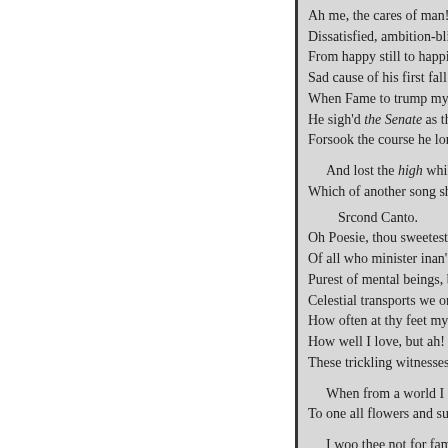Ah me, the cares of man! D
Dissatisfied, ambition-blind
From happy still to happier
Sad cause of his first fall an
When Fame to trump my he
He sigh'd the Senate as the
Forsook the course he long

And lost the high while pla
Which of another song shall
Srcond Canto.
Oh Poesie, thou sweetest, lo
Of all who minister inan's b
Purest of mental beings, by
Celestial transports we on e
How often at thy feet my gr
How well I love, but ah! ho
These trickling witnesses to

When from a world I little
To one all flowers and sun-

I woo thee not for fame o